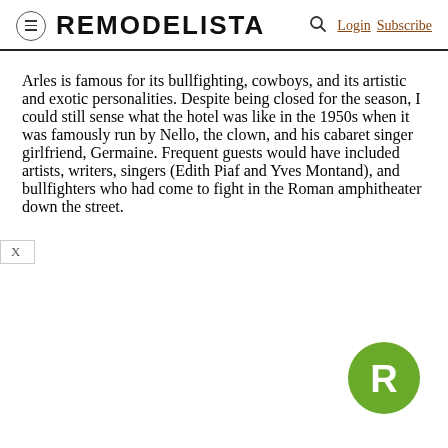REMODELISTA  Login  Subscribe
Arles is famous for its bullfighting, cowboys, and its artistic and exotic personalities. Despite being closed for the season, I could still sense what the hotel was like in the 1950s when it was famously run by Nello, the clown, and his cabaret singer girlfriend, Germaine. Frequent guests would have included artists, writers, singers (Edith Piaf and Yves Montand), and bullfighters who had come to fight in the Roman amphitheater down the street.
[Figure (logo): Remodelista green circular logo with white R letter]